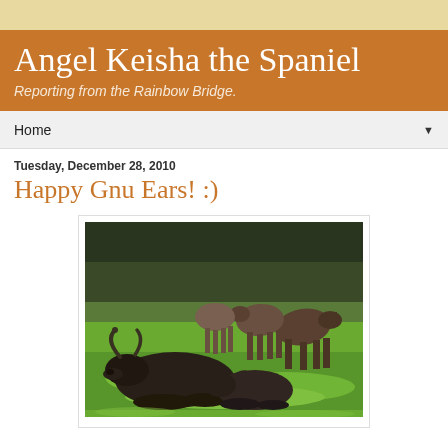Angel Keisha the Spaniel – Reporting from the Rainbow Bridge.
Home
Tuesday, December 28, 2010
Happy Gnu Ears! :)
[Figure (photo): A group of gnu (wildebeest) on green grass. One large gnu with curved horns lies in the foreground, while several others stand grazing in the background. Trees are visible behind them.]